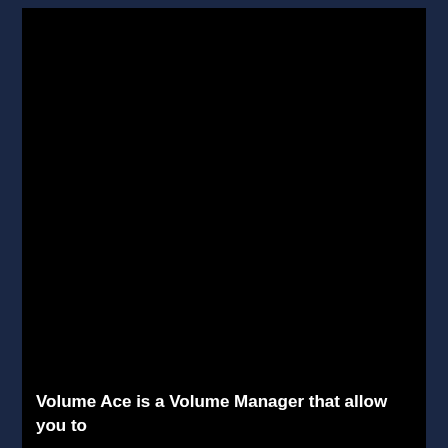[Figure (screenshot): Screenshot of a software application (Volume Ace Volume Manager) with a predominantly black interface and dark navy blue border/sidebar on left and right edges.]
Volume Ace is a Volume Manager that allow you to